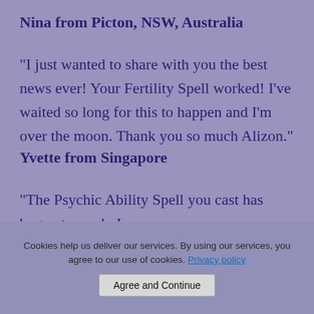Nina from Picton, NSW, Australia
"I just wanted to share with you the best news ever! Your Fertility Spell worked! I’ve waited so long for this to happen and I’m over the moon. Thank you so much Alizon."
Yvette from Singapore
"The Psychic Ability Spell you cast has begun to work. I
Cookies help us deliver our services. By using our services, you agree to our use of cookies. Privacy policy
Agree and Continue